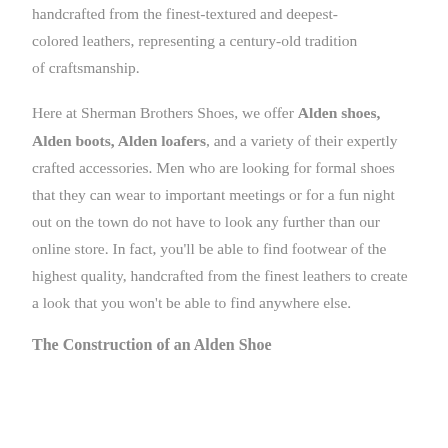handcrafted from the finest-textured and deepest-colored leathers, representing a century-old tradition of craftsmanship.
Here at Sherman Brothers Shoes, we offer Alden shoes, Alden boots, Alden loafers, and a variety of their expertly crafted accessories. Men who are looking for formal shoes that they can wear to important meetings or for a fun night out on the town do not have to look any further than our online store. In fact, you'll be able to find footwear of the highest quality, handcrafted from the finest leathers to create a look that you won't be able to find anywhere else.
The Construction of an Alden Shoe